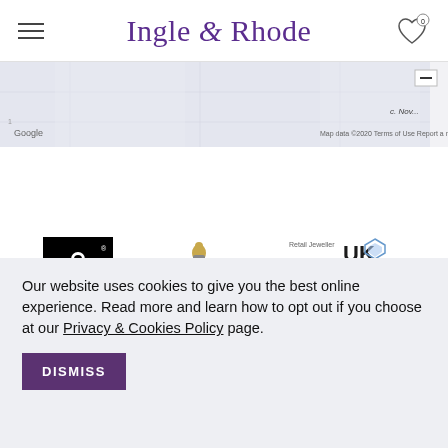Ingle & Rhode
[Figure (screenshot): Partial Google Maps view with minus zoom button and map attribution text]
[Figure (logo): Fairtrade International logo - black square with white Fairtrade symbol]
[Figure (logo): Coat of arms / heraldic crest logo]
[Figure (logo): Retail Jeweller UK Jewellery Awards logo]
Our website uses cookies to give you the best online experience. Read more and learn how to opt out if you choose at our Privacy & Cookies Policy page.
DISMISS